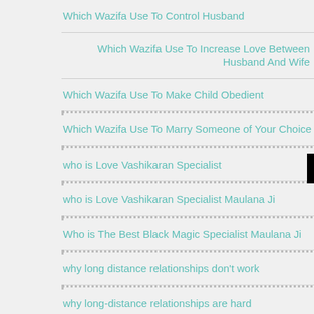Which Wazifa Use To Control Husband
Which Wazifa Use To Increase Love Between Husband And Wife
Which Wazifa Use To Make Child Obedient
Which Wazifa Use To Marry Someone of Your Choice
who is Love Vashikaran Specialist
who is Love Vashikaran Specialist Maulana Ji
Who is The Best Black Magic Specialist Maulana Ji
why long distance relationships don't work
why long-distance relationships are hard
why long-distance relationships work